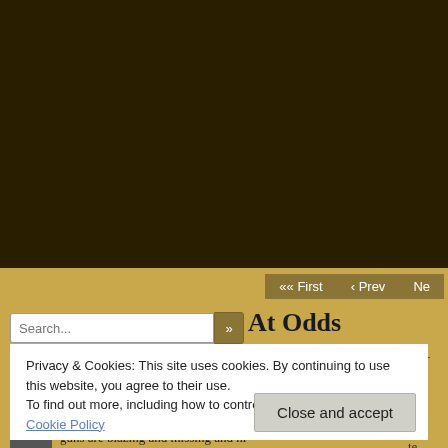[Figure (photo): Dark brown/black background area at top of webpage screenshot]
«« First  ‹ Prev  Ne
Search...
At Odds
By DBethel on 6 October 2016
Privacy & Cookies: This site uses cookies. By continuing to use this website, you agree to their use.
To find out more, including how to control cookies, see here: Cookie Policy
Close and accept
guns are blazing and missing and hi